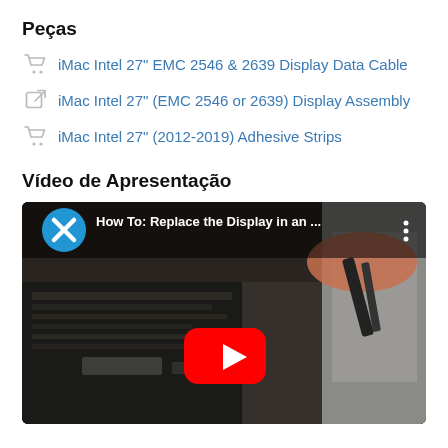Peças
iMac Intel 27" EMC 2546 & 2639 Display Data Cable
iMac Intel 27" (EMC 2546 or 2639) Display Assembly
iMac Intel 27" (2012-2019) Adhesive Strips
Vídeo de Apresentação
[Figure (screenshot): YouTube video thumbnail showing a repair technician replacing the display in an iMac, with a red YouTube play button overlay and title 'How To: Replace the Display in an ...']